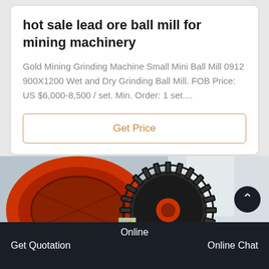hot sale lead ore ball mill for mining machinery
Gold Mining Grinding Machine Small Mini Ball Mill 0912 900X1200 Wet and Dry Grinding Ball Mill. FOB Price: US $6,000-8,500 / set. Min. Order: 1 set....
Get Price
[Figure (photo): Industrial ball mill machine with large orange/red gear and drum assembly in a warehouse setting]
Online
Get Quotation
Online Chat